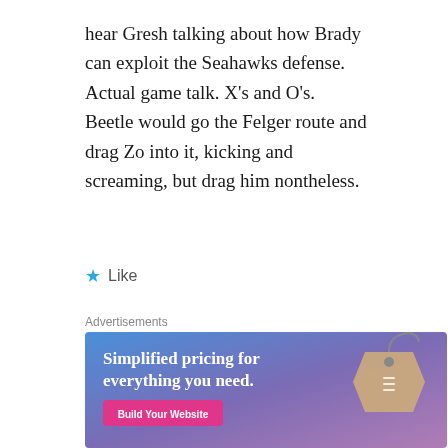hear Gresh talking about how Brady can exploit the Seahawks defense. Actual game talk. X's and O's. Beetle would go the Felger route and drag Zo into it, kicking and screaming, but drag him nontheless.
★ Like
Advertisements
[Figure (infographic): Advertisement banner with gradient blue-purple background. Text reads 'Simplified pricing for everything you need.' with a pink 'Build Your Website' button and a decorative price tag graphic on the right.]